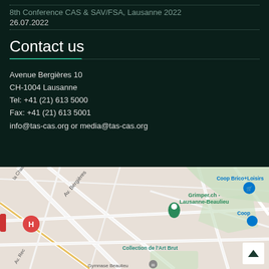8th Conference CAS & SAV/FSA, Lausanne 2022
26.07.2022
Contact us
Avenue Bergières 10
CH-1004 Lausanne
Tel: +41 (21) 613 5000
Fax: +41 (21) 613 5001
info@tas-cas.org or media@tas-cas.org
[Figure (map): Google Maps view of the area around Avenue Bergières 10, Lausanne, showing streets, Grimper.ch Lausanne-Beaulieu, Coop Brico+Loisirs, Coop, Collection de l'Art Brut, and Gymnase Beaulieu landmarks.]